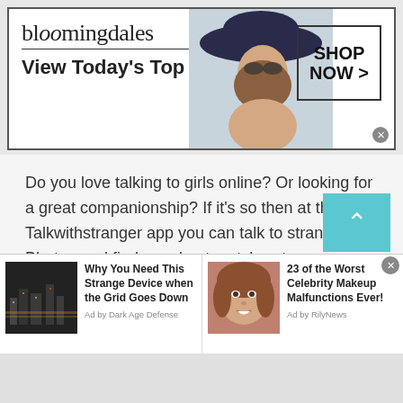[Figure (screenshot): Bloomingdale's advertisement banner with logo, 'View Today's Top Deals!' text, woman in hat, and 'SHOP NOW >' button]
Do you love talking to girls online? Or looking for a great companionship? If it's so then at the Talkwithstranger app you can talk to strangers in Bhutan and find your best match or true companion. Well, TWS girls chat room is not only restricted to boy-to-girl talk, it can be a girl-to-girl talk. Yes, girls can also have fun and experience incredible excitement because of talkwithstranger simplicity, authenticity and reliability.
[Figure (screenshot): Bottom ad bar with two sponsored content items: 'Why You Need This Strange Device when the Grid Goes Down' (Ad by Dark Age Defense) and '23 of the Worst Celebrity Makeup Malfunctions Ever!' (Ad by RilyNews)]